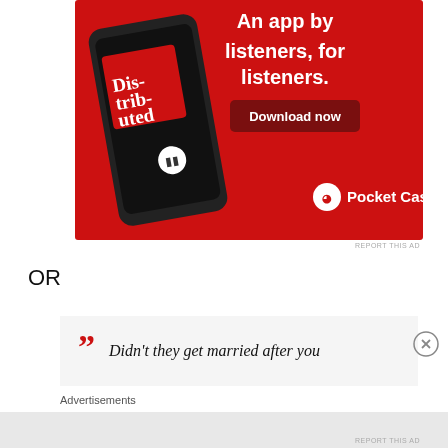[Figure (illustration): Pocket Casts advertisement banner with red background showing a smartphone displaying a podcast episode called 'Distributed', with text 'An app by listeners, for listeners.' and a 'Download now' button and Pocket Casts logo.]
REPORT THIS AD
OR
[Figure (illustration): Advertisement box with red quotation marks and italic text: Didn't they get married after you]
Advertisements
REPORT THIS AD